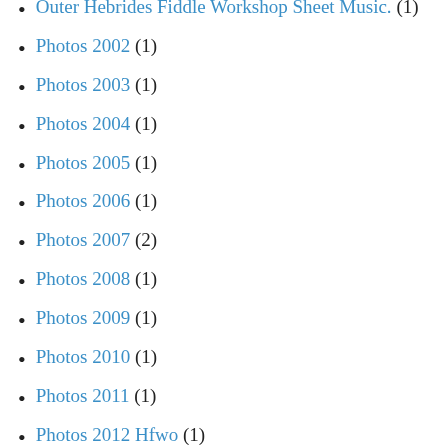Outer Hebrides Fiddle Workshop Sheet Music. (1)
Photos 2002 (1)
Photos 2003 (1)
Photos 2004 (1)
Photos 2005 (1)
Photos 2006 (1)
Photos 2007 (2)
Photos 2008 (1)
Photos 2009 (1)
Photos 2010 (1)
Photos 2011 (1)
Photos 2012 Hfwo (1)
Slow Play Tunes (10)
Student News (26)
Taransay 2002 Mp3s Here (2)